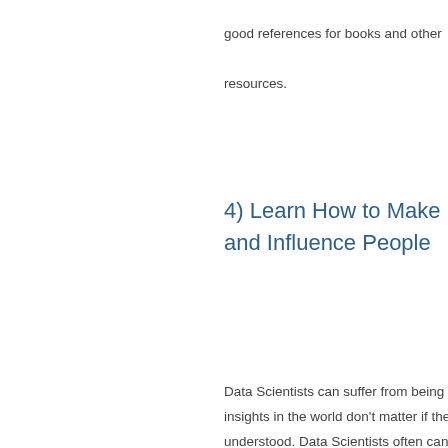good references for books and other resources.
4) Learn How to Make Friends and Influence People
Data Scientists can suffer from being too analytical, too technical and just too darn scientific. The greatest insights in the world don't matter if they can't be communicated to people in way that they can be understood. Data Scientists often can do with a little help in this area. These are two books that I'd recommend for Data Scientists that are looking to improve their game at presenting: